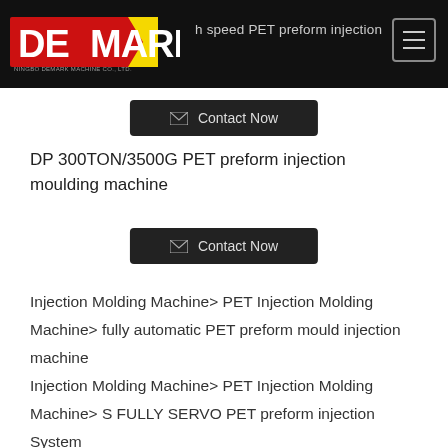DEMARK | high speed PET preform injection
Contact Now
DP 300TON/3500G PET preform injection moulding machine
Contact Now
Injection Molding Machine> PET Injection Molding Machine> fully automatic PET preform mould injection machine
Injection Molding Machine> PET Injection Molding Machine> S FULLY SERVO PET preform injection System
Injection Molding Machine> PET Injection Molding Machine> high efficient PET preform injection machine
Injection Molding Machine> PET Injection Molding Machine> ECO300/2500 PET preform injection moulding